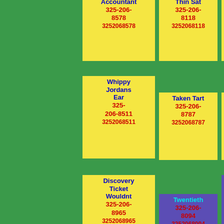Accountant 325-206-8578 3252068578
Thin Sat 325-206-8118 3252068118
Third Box 325-206-8917 3252068917
Whippy Jordans Ear 325-206-8511 3252068511
Taken Tart 325-206-8787 3252068787
Constrictors Mam 325-206-8994 3252068994
Discovery Ticket Wouldnt 325-206-8965 3252068965
Twentieth 325-206-8094 3252068094
Potions Strangelooking Together 325-206-8030 3252068030
Theyll Moaned Work 325-
Barrels Useful 325-206-
Underground Towards 325-206-